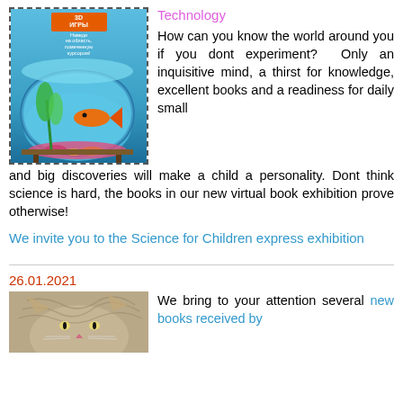[Figure (photo): Book cover with fish bowl image in dashed border, showing a goldfish in a round aquarium with aquatic plants and colorful pebbles against a blue background, with an orange badge at the top]
Technology
How can you know the world around you if you dont experiment? Only an inquisitive mind, a thirst for knowledge, excellent books and a readiness for daily small and big discoveries will make a child a personality. Dont think science is hard, the books in our new virtual book exhibition prove otherwise!
We invite you to the Science for Children express exhibition
26.01.2021
[Figure (photo): Close-up photo of a cat]
We bring to your attention several new books received by